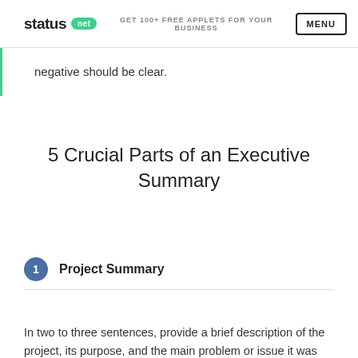status net | GET 100+ FREE APPLETS FOR YOUR BUSINESS | MENU
negative should be clear.
5 Crucial Parts of an Executive Summary
1 Project Summary
In two to three sentences, provide a brief description of the project, its purpose, and the main problem or issue it was supposed to resolve or address.